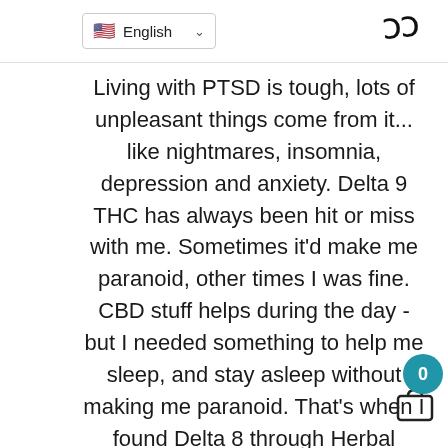English
Living with PTSD is tough, lots of unpleasant things come from it... like nightmares, insomnia, depression and anxiety. Delta 9 THC has always been hit or miss with me. Sometimes it'd make me paranoid, other times I was fine. CBD stuff helps during the day - but I needed something to help me sleep, and stay asleep without making me paranoid. That's when I found Delta 8 through Herbal Society. Not only are the prices cheap compared to dispensaries, delta 8 actually gets you medicated without all